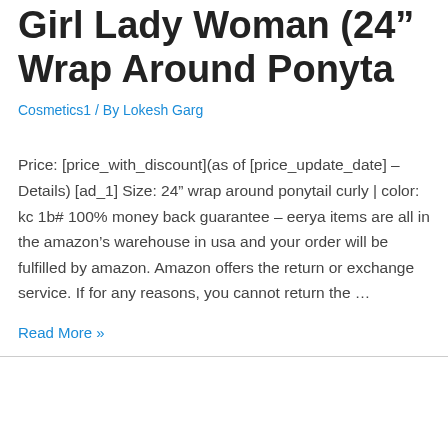Girl Lady Woman (24" Wrap Around Ponyta
Cosmetics1 / By Lokesh Garg
Price: [price_with_discount](as of [price_update_date] – Details) [ad_1] Size: 24" wrap around ponytail curly | color: kc 1b# 100% money back guarantee – eerya items are all in the amazon's warehouse in usa and your order will be fulfilled by amazon. Amazon offers the return or exchange service. If for any reasons, you cannot return the …
Read More »